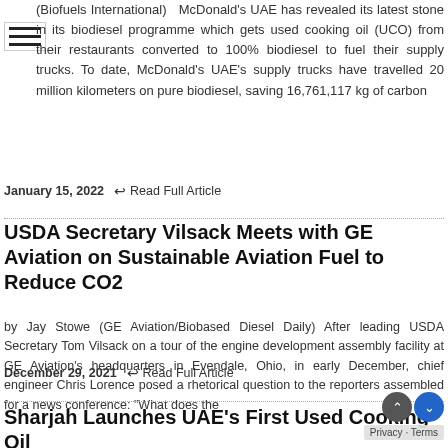(Biofuels International)  McDonald's UAE has revealed its latest stone in its biodiesel programme which gets used cooking oil (UCO) from their restaurants converted to 100% biodiesel to fuel their supply trucks. To date, McDonald's UAE's supply trucks have travelled 20 million kilometers on pure biodiesel, saving 16,761,117 kg of carbon
January 15, 2022   ↩ Read Full Article
USDA Secretary Vilsack Meets with GE Aviation on Sustainable Aviation Fuel to Reduce CO2
by Jay Stowe (GE Aviation/Biobased Diesel Daily) After leading USDA Secretary Tom Vilsack on a tour of the engine development assembly facility at GE Aviation's headquarters in Evendale, Ohio, in early December, chief engineer Chris Lorence posed a rhetorical question to the reporters assembled for a news conference: "What does the
December 29, 2021   ↩ Read Full Article
Sharjah Launches UAE's First Used Cooking Oil Recycling Programme for Communities